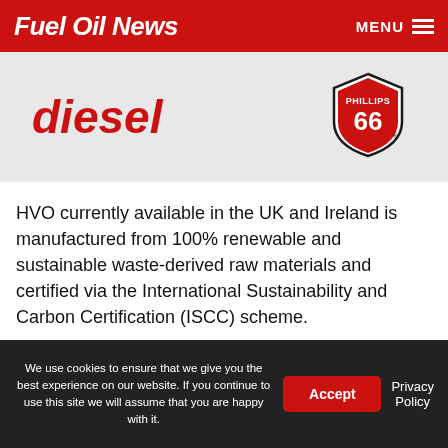Fuel Oil News | MENU
diesel
[Figure (logo): Phillips 66 shield logo]
HVO currently available in the UK and Ireland is manufactured from 100% renewable and sustainable waste-derived raw materials and certified via the International Sustainability and Carbon Certification (ISCC) scheme.
“HVO WILL ENABLE HARD TO HEAT IRISH HOMES TO TRANSITION”
We use cookies to ensure that we give you the best experience on our website. If you continue to use this site we will assume that you are happy with it.